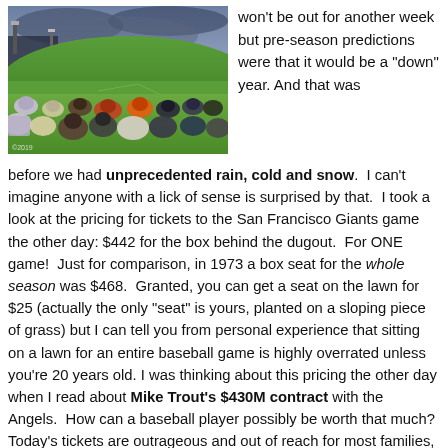[Figure (photo): Stadium photo showing a baseball field with crowd sitting on grass lawn in foreground, stadium lights and cloudy sky in background]
won't be out for another week but pre-season predictions were that it would be a “down” year. And that was before we had unprecedented rain, cold and snow. I can’t imagine anyone with a lick of sense is surprised by that. I took a look at the pricing for tickets to the San Francisco Giants game the other day: $442 for the box behind the dugout. For ONE game! Just for comparison, in 1973 a box seat for the whole season was $468. Granted, you can get a seat on the lawn for $25 (actually the only “seat” is yours, planted on a sloping piece of grass) but I can tell you from personal experience that sitting on a lawn for an entire baseball game is highly overrated unless you’re 20 years old. I was thinking about this pricing the other day when I read about Mike Trout’s $430M contract with the Angels. How can a baseball player possibly be worth that much? Today’s tickets are outrageous and out of reach for most families, while the average MLB salary in 2018 was $4.47M. So now even Spring Training baseball joins the